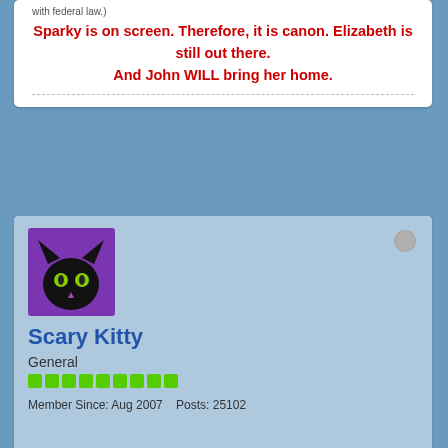with federal law.)
Sparky is on screen. Therefore, it is canon. Elizabeth is still out there. And John WILL bring her home.
[Figure (illustration): Black cat avatar on purple background with green eyes and pink nose]
Scary Kitty
General
Member Since: Aug 2007   Posts: 25102
29 January 2012, 12:48 PM
#114259
Originally posted by Southern Red
I never noticed Lizzie's outfit before. She looks like June Cleaver.